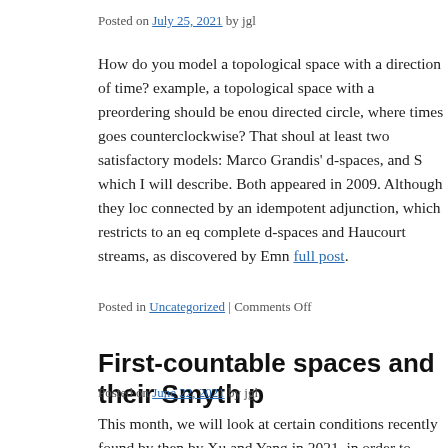Posted on July 25, 2021 by jgl
How do you model a topological space with a direction of time? For example, a topological space with a preordering should be enough. But a directed circle, where times goes counterclockwise? That should have at least two satisfactory models: Marco Grandis' d-spaces, and S… which I will describe. Both appeared in 2009. Although they look… connected by an idempotent adjunction, which restricts to an eq… complete d-spaces and Haucourt streams, as discovered by Emm… full post.
Posted in Uncategorized | Comments Off
First-countable spaces and their Smyth p
Posted on June 22, 2021 by jgl
This month, we will look at certain conditions recently found by… then by Xu and Yang in 2021, in order to ensure that the Smyth… topology) of a space X is a dcpo model of X, and in order to ens…